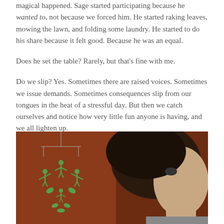magical happened. Sage started participating because he wanted to, not because we forced him. He started raking leaves, mowing the lawn, and folding some laundry. He started to do his share because it felt good. Because he was an equal.
Does he set the table? Rarely, but that's fine with me.
Do we slip? Yes. Sometimes there are raised voices. Sometimes we issue demands. Sometimes consequences slip from our tongues in the heat of a stressful day. But then we catch ourselves and notice how very little fun anyone is having, and we all lighten up.
[Figure (photo): A close-up photo of a child with dark hair viewed from the side/back, against a reddish-brown background with a green decorative mobile or ornament visible on the left side.]